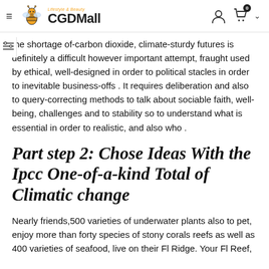CGDMall — Lifestyle & Beauty
the shortage of-carbon dioxide, climate-sturdy futures is definitely a difficult however important attempt, fraught used by ethical, well-designed in order to political stacles in order to inevitable business-offs . It requires deliberation and also to query-correcting methods to talk about sociable faith, well-being, challenges and to stability so to understand what is essential in order to realistic, and also who .
Part step 2: Chose Ideas With the Ipcc One-of-a-kind Total of Climatic change
Nearly friends,500 varieties of underwater plants also to pet, enjoy more than forty species of stony corals reefs as well as 400 varieties of seafood, live on their Fl Ridge. Your Fl Reef,